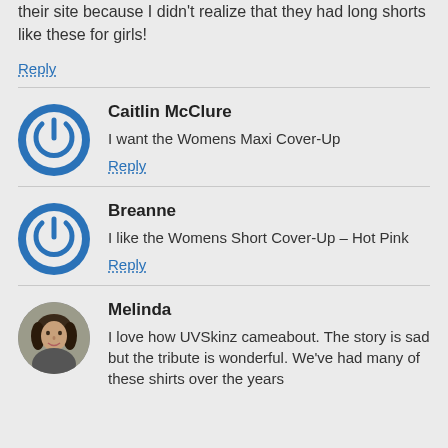their site because I didn't realize that they had long shorts like these for girls!
Reply
Caitlin McClure
I want the Womens Maxi Cover-Up
Reply
Breanne
I like the Womens Short Cover-Up – Hot Pink
Reply
Melinda
I love how UVSkinz cameabout. The story is sad but the tribute is wonderful. We've had many of these shirts over the years